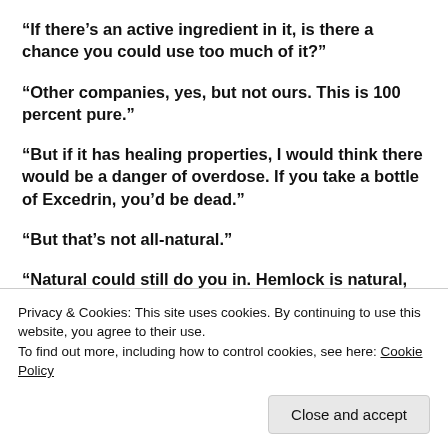“If there’s an active ingredient in it, is there a chance you could use too much of it?”
“Other companies, yes, but not ours. This is 100 percent pure.”
“But if it has healing properties, I would think there would be a danger of overdose. If you take a bottle of Excedrin, you’d be dead.”
“But that’s not all-natural.”
“Natural could still do you in. Hemlock is natural, too. So
Privacy & Cookies: This site uses cookies. By continuing to use this website, you agree to their use.
To find out more, including how to control cookies, see here: Cookie Policy
remedial inquiries at them. They are used to being asked,